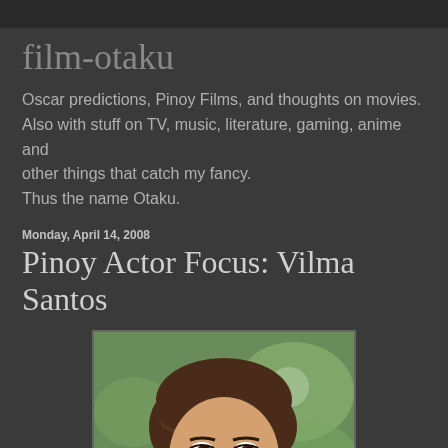film-otaku
Oscar predictions, Pinoy Films, and thoughts on movies. Also with stuff on TV, music, literature, gaming, anime and other things that catch my fancy.
Thus the name Otaku.
Monday, April 14, 2008
Pinoy Actor Focus: Vilma Santos
[Figure (photo): Portrait photograph of Vilma Santos, a Filipino actress, with short brown hair, earrings, against a green blurred background.]